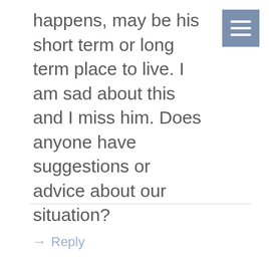[Figure (other): Menu/hamburger icon button — a steel-blue square with three white horizontal lines]
happens, may be his short term or long term place to live. I am sad about this and I miss him. Does anyone have suggestions or advice about our situation?
→ Reply